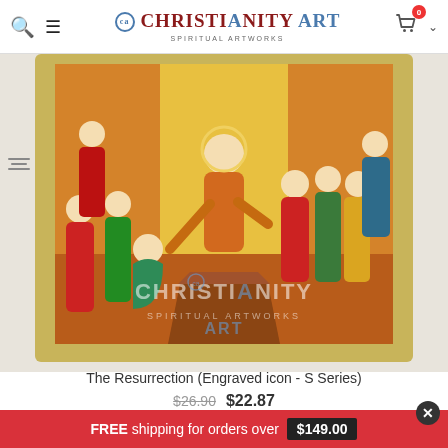Christianity Art - Spiritual Artworks
[Figure (photo): A religious icon painting depicting The Resurrection scene. Christ in orange robes stands centrally on a wooden platform, reaching down to a kneeling figure in green. Figures in red and colorful robes surround the scene. The icon has a gold border frame. A watermark logo for ChristianityArt is overlaid in the lower center of the image.]
The Resurrection (Engraved icon - S Series)
$26.90  $22.87
FREE shipping for orders over $149.00